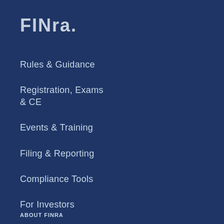[Figure (logo): FINRA logo in light gray/white text on dark navy background]
Rules & Guidance
Registration, Exams & CE
Events & Training
Filing & Reporting
Compliance Tools
For Investors
ABOUT FINRA